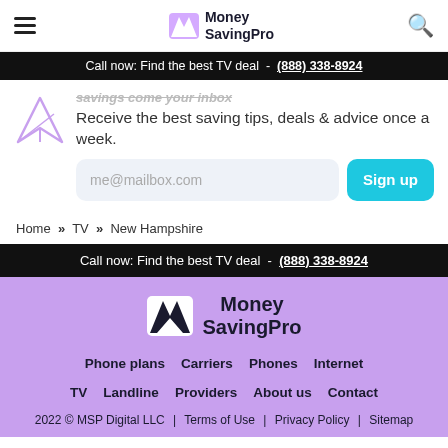Money SavingPro
Call now: Find the best TV deal - (888) 338-8924
Receive the best saving tips, deals & advice once a week.
me@mailbox.com
Sign up
Home » TV » New Hampshire
Call now: Find the best TV deal - (888) 338-8924
Money SavingPro — Phone plans | Carriers | Phones | Internet | TV | Landline | Providers | About us | Contact — 2022 © MSP Digital LLC | Terms of Use | Privacy Policy | Sitemap